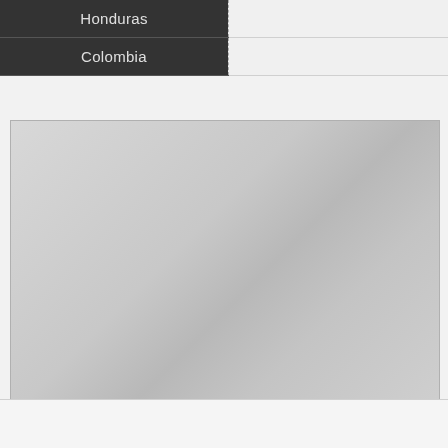| Honduras |  |
| Colombia |  |
[Figure (other): Large light gray rectangular image placeholder area with subtle gradient shading]